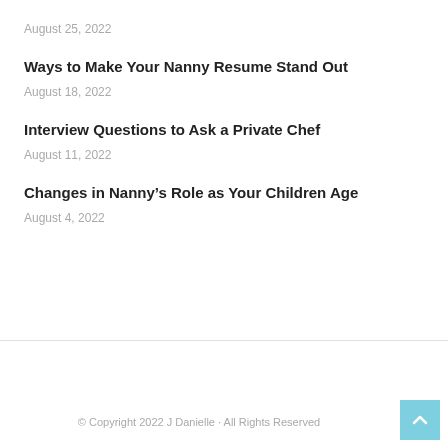August 25, 2022
Ways to Make Your Nanny Resume Stand Out
August 18, 2022
Interview Questions to Ask a Private Chef
August 11, 2022
Changes in Nanny’s Role as Your Children Age
August 4, 2022
© Copyright 2022 J Danielle · All Rights Reserved